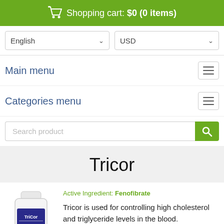Shopping cart: $0 (0 items)
English | USD
Main menu
Categories menu
Search product
Tricor
[Figure (photo): White medicine bottle labeled TriCor 200mg]
Active Ingredient: Fenofibrate
Tricor is used for controlling high cholesterol and triglyceride levels in the blood.